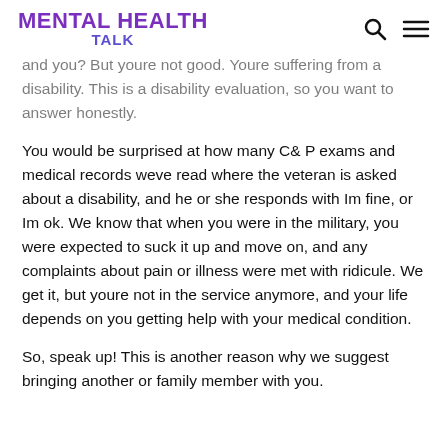MENTAL HEALTH TALK
and you? But youre not good. Youre suffering from a disability. This is a disability evaluation, so you want to answer honestly.
You would be surprised at how many C& P exams and medical records weve read where the veteran is asked about a disability, and he or she responds with Im fine, or Im ok. We know that when you were in the military, you were expected to suck it up and move on, and any complaints about pain or illness were met with ridicule. We get it, but youre not in the service anymore, and your life depends on you getting help with your medical condition.
So, speak up! This is another reason why we suggest bringing another or family member with you.